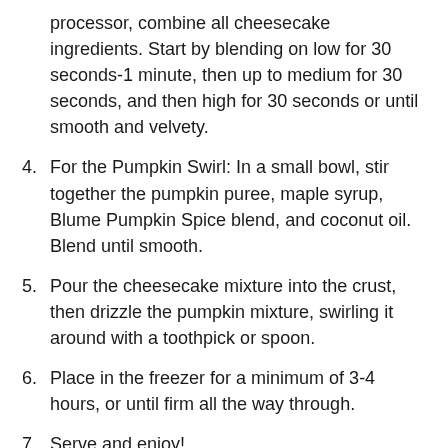processor, combine all cheesecake ingredients. Start by blending on low for 30 seconds-1 minute, then up to medium for 30 seconds, and then high for 30 seconds or until smooth and velvety.
4. For the Pumpkin Swirl: In a small bowl, stir together the pumpkin puree, maple syrup, Blume Pumpkin Spice blend, and coconut oil. Blend until smooth.
5. Pour the cheesecake mixture into the crust, then drizzle the pumpkin mixture, swirling it around with a toothpick or spoon.
6. Place in the freezer for a minimum of 3-4 hours, or until firm all the way through.
7. Serve and enjoy!